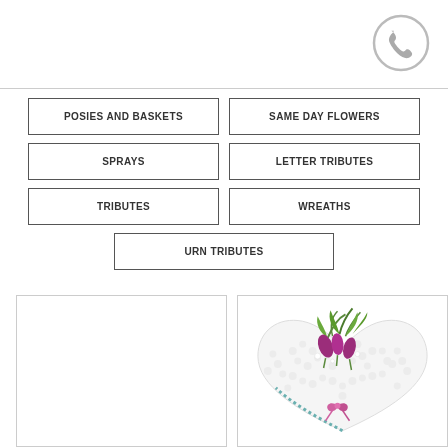POSIES AND BASKETS
SAME DAY FLOWERS
SPRAYS
LETTER TRIBUTES
TRIBUTES
WREATHS
URN TRIBUTES
[Figure (photo): Empty white box (placeholder image)]
[Figure (photo): Floral heart-shaped funeral tribute made of white flowers with purple calla lilies and green foliage on top]